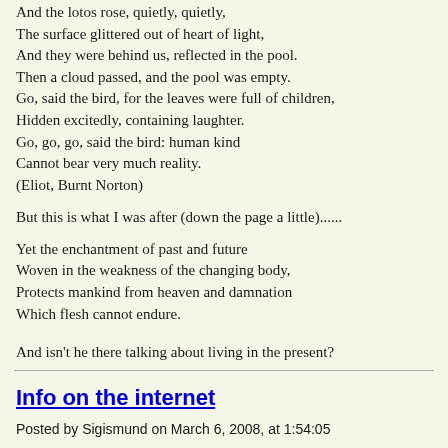And the lotos rose, quietly, quietly,
The surface glittered out of heart of light,
And they were behind us, reflected in the pool.
Then a cloud passed, and the pool was empty.
Go, said the bird, for the leaves were full of children,
Hidden excitedly, containing laughter.
Go, go, go, said the bird: human kind
Cannot bear very much reality.
(Eliot, Burnt Norton)
But this is what I was after (down the page a little)......
Yet the enchantment of past and future
Woven in the weakness of the changing body,
Protects mankind from heaven and damnation
Which flesh cannot endure.
And isn't he there talking about living in the present?
Info on the internet
Posted by Sigismund on March 6, 2008, at 1:54:05